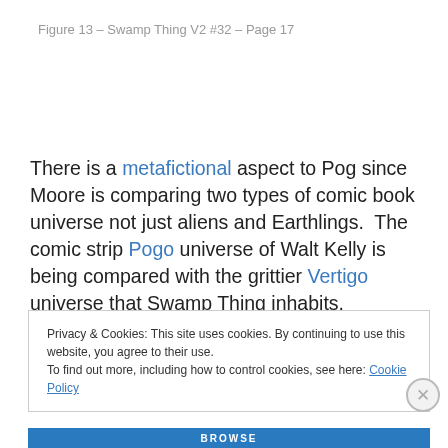Figure 13 – Swamp Thing V2 #32 – Page 17
There is a metafictional aspect to Pog since Moore is comparing two types of comic book universe not just aliens and Earthlings.  The comic strip Pogo universe of Walt Kelly is being compared with the grittier Vertigo universe that Swamp Thing inhabits.
Privacy & Cookies: This site uses cookies. By continuing to use this website, you agree to their use.
To find out more, including how to control cookies, see here: Cookie Policy